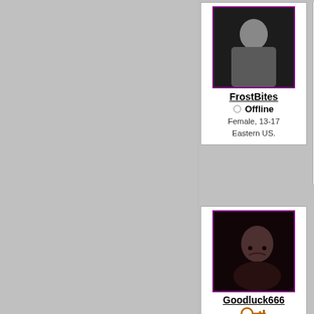[Figure (photo): Profile photo for FrostBites, dark/grainy photo of a woman]
FrostBites
Offline
Female, 13-17
Eastern US.
[Figure (photo): Profile photo for Goodluck666, dark photo of a person]
Goodluck666
Offline
Female, 13-17
Midwest US.
[Figure (logo): Profile image for GrlSkater717, Element skate brand logo]
GrlSkater717
Offline
Female, 13-17
Eastern US.
[Figure (photo): Profile photo for hi im tanya, close-up face photo]
hi  im  tanya
Offline